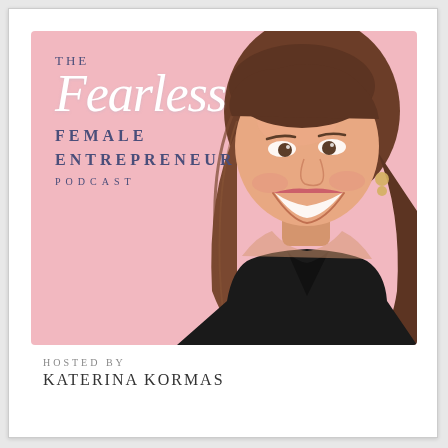[Figure (illustration): Podcast cover art for 'The Fearless Female Entrepreneur Podcast' on a pink background with the show title in mixed serif and script typography on the left, and a photo of a smiling brunette woman on the right. Below the cover art: 'HOSTED BY KATERINA KORMAS' in uppercase serif text.]
HOSTED BY
KATERINA KORMAS